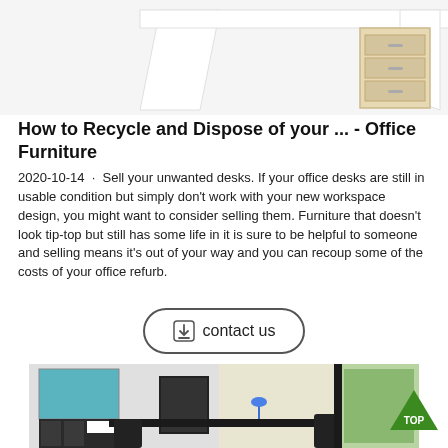[Figure (photo): Partial view of a modern white office desk with wooden drawer unit, cropped at top of page]
How to Recycle and Dispose of your ... - Office Furniture
2020-10-14 · Sell your unwanted desks. If your office desks are still in usable condition but simply don't work with your new workspace design, you might want to consider selling them. Furniture that doesn't look tip-top but still has some life in it is sure to be helpful to someone and selling means it's out of your way and you can recoup some of the costs of your office refurb.
[Figure (other): Contact us button with download icon]
[Figure (photo): Office room interior with dark desk, ergonomic chairs, black shelving unit with white cabinet, artwork on white brick wall, and window with outdoor view]